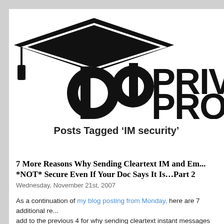[Figure (logo): Private Professor logo with graduation cap and stylized PP letters, with text 'PRIVA... PROFES...' partially visible]
Posts Tagged ‘IM security’
7 More Reasons Why Sending Cleartext IM and Em... *NOT* Secure Even If Your Doc Says It Is…Part 2
Wednesday, November 21st, 2007
As a continuation of my blog posting from Monday, here are 7 additional re... add to the previous 4 for why sending cleartext instant messages (IMs) and... not secure: